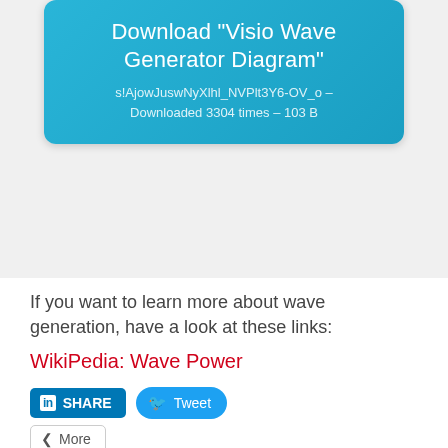[Figure (screenshot): Blue rounded box with text: Download "Visio Wave Generator Diagram" s!AjowJuswNyXlhl_NVPlt3Y6-OV_o – Downloaded 3304 times – 103 B]
If you want to learn more about wave generation, have a look at these links:
WikiPedia: Wave Power
[Figure (screenshot): Social share buttons: LinkedIn SHARE button, Tweet button, More button]
Related posts:
Forefront Icons and Data Graphic Shapes